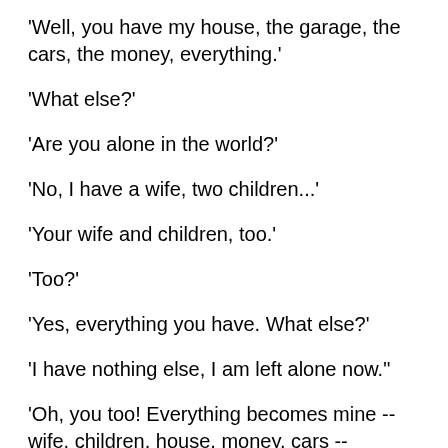'Well, you have my house, the garage, the cars, the money, everything.'
'What else?'
'Are you alone in the world?'
'No, I have a wife, two children...'
'Your wife and children, too.'
'Too?'
'Yes, everything you have. What else?'
'I have nothing else, I am left alone now.'
'Oh, you too! Everything becomes mine -- wife, children, house, money, cars -- everything. And you too. Now you are all these things, but not built...